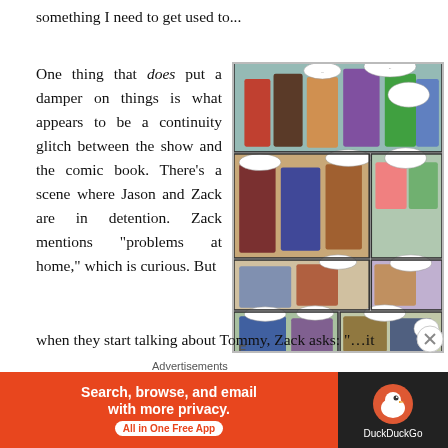something I need to get used to...
One thing that does put a damper on things is what appears to be a continuity glitch between the show and the comic book. There's a scene where Jason and Zack are in detention. Zack mentions "problems at home," which is curious. But when they start talking about Tommy, Zack asks: " it
[Figure (illustration): Comic book panels showing teen characters in a school hallway, arranged in three rows. Various speech bubbles visible.]
when they start talking about Tommy, Zack asks: " it
Advertisements
[Figure (infographic): DuckDuckGo advertisement banner: orange left side with text 'Search, browse, and email with more privacy. All in One Free App' and dark right side with DuckDuckGo logo.]